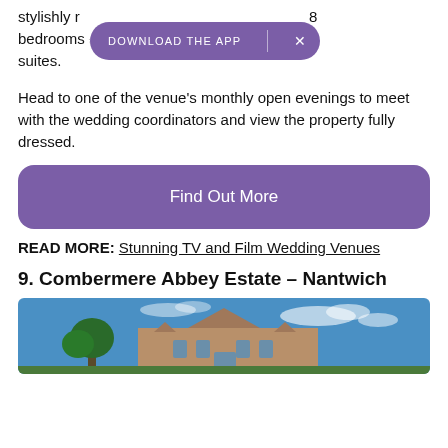stylishly [furnished with 1]8 bedrooms and a selection of magnificent function suites.
Head to one of the venue's monthly open evenings to meet with the wedding coordinators and view the property fully dressed.
Find Out More
READ MORE: Stunning TV and Film Wedding Venues
9. Combermere Abbey Estate – Nantwich
[Figure (photo): Exterior photo of Combermere Abbey Estate showing a stone building with a pointed gable roof against a blue sky with scattered clouds, with trees visible on the left side.]